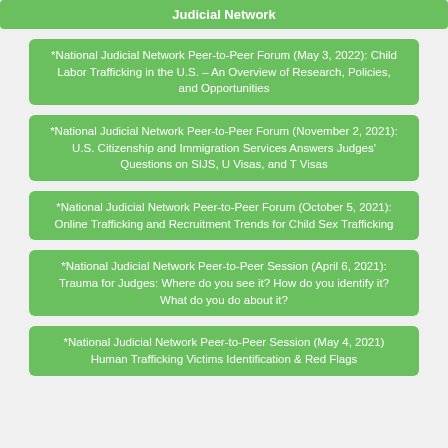Judicial Network
*National Judicial Network Peer-to-Peer Forum (May 3, 2022): Child Labor Trafficking in the U.S. – An Overview of Research, Policies, and Opportunities
*National Judicial Network Peer-to-Peer Forum (November 2, 2021): U.S. Citizenship and Immigration Services Answers Judges' Questions on SIJS, U Visas, and T Visas
*National Judicial Network Peer-to-Peer Forum (October 5, 2021): Online Trafficking and Recruitment Trends for Child Sex Trafficking
*National Judicial Network Peer-to-Peer Session (April 6, 2021): Trauma for Judges: Where do you see it? How do you identify it? What do you do about it?
*National Judicial Network Peer-to-Peer Session (May 4, 2021) Human Trafficking Victims Identification & Red Flags